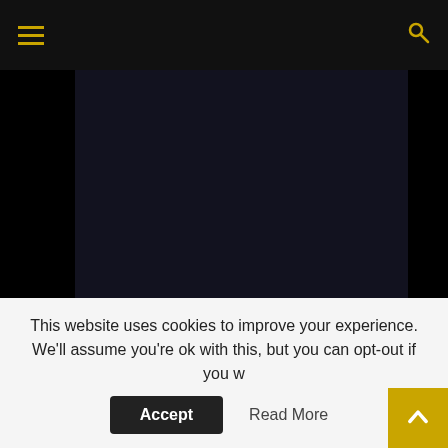Navigation bar with hamburger menu and search icon
[Figure (screenshot): Dark video player area showing a nearly black/dark navy video thumbnail]
more exciting vide
Watch now
@breckensmith81
Nozics are coming.... #fyp #fypage #timewarper #timetravel #timetr ...See more
This website uses cookies to improve your experience. We'll assume you're ok with this, but you can opt-out if you w
Accept
Read More